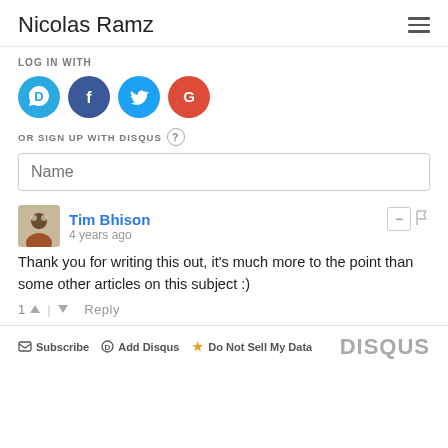Nicolas Ramz
LOG IN WITH
[Figure (illustration): Four social login icons: Disqus (blue speech bubble with D), Facebook (dark blue circle with f), Twitter (light blue circle with bird), Google (red circle with G)]
OR SIGN UP WITH DISQUS ?
Name
Tim Bhison
4 years ago
Thank you for writing this out, it's much more to the point than some other articles on this subject :)
1 ^ | v Reply
Subscribe   Add Disqus   Do Not Sell My Data   DISQUS